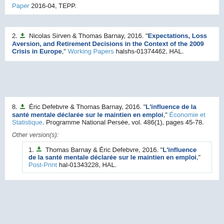Paper 2016-04, TEPP.
2. Nicolas Sirven & Thomas Barnay, 2016. "Expectations, Loss Aversion, and Retirement Decisions in the Context of the 2009 Crisis in Europe," Working Papers halshs-01374462, HAL.
8. Éric Defebvre & Thomas Barnay, 2016. "L'influence de la santé mentale déclarée sur le maintien en emploi," Économie et Statistique, Programme National Persée, vol. 486(1), pages 45-78.
Other version(s):
1. Thomas Barnay & Éric Defebvre, 2016. "L'influence de la santé mentale déclarée sur le maintien en emploi," Post-Print hal-01343228, HAL.